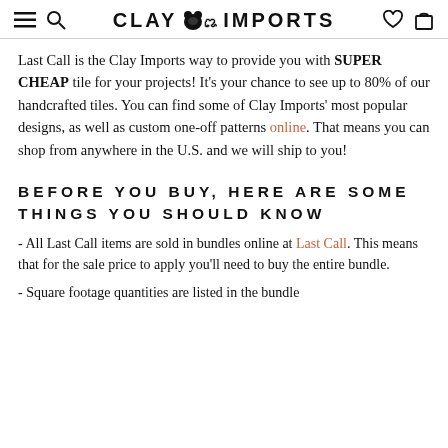CLAY IMPORTS
Last Call is the Clay Imports way to provide you with SUPER CHEAP tile for your projects! It's your chance to see up to 80% of our handcrafted tiles. You can find some of Clay Imports' most popular designs, as well as custom one-off patterns online. That means you can shop from anywhere in the U.S. and we will ship to you!
BEFORE YOU BUY, HERE ARE SOME THINGS YOU SHOULD KNOW
- All Last Call items are sold in bundles online at Last Call. This means that for the sale price to apply you'll need to buy the entire bundle.
- Square footage quantities are listed in the bundle